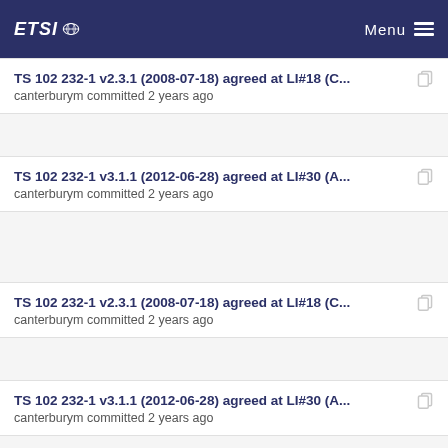ETSI — Menu
TS 102 232-1 v2.3.1 (2008-07-18) agreed at LI#18 (C... — canterburym committed 2 years ago
TS 102 232-1 v3.1.1 (2012-06-28) agreed at LI#30 (A... — canterburym committed 2 years ago
TS 102 232-1 v2.3.1 (2008-07-18) agreed at LI#18 (C... — canterburym committed 2 years ago
TS 102 232-1 v3.1.1 (2012-06-28) agreed at LI#30 (A... — canterburym committed 2 years ago
TS 102 232-1 v2.3.1 (2008-07-18) agreed at LI#18 (C... — canterburym committed 2 years ago